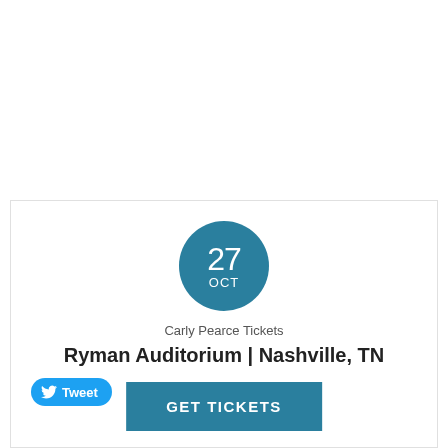[Figure (infographic): Teal circular date badge showing '27 OCT' in white text]
Carly Pearce Tickets
Ryman Auditorium | Nashville, TN
[Figure (other): Twitter Tweet button with bird icon]
GET TICKETS